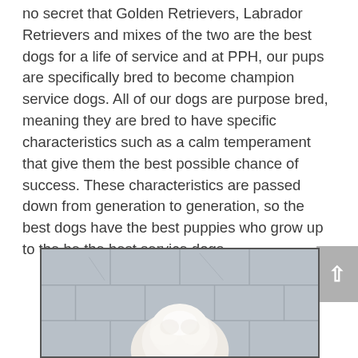no secret that Golden Retrievers, Labrador Retrievers and mixes of the two are the best dogs for a life of service and at PPH, our pups are specifically bred to become champion service dogs. All of our dogs are purpose bred, meaning they are bred to have specific characteristics such as a calm temperament that give them the best possible chance of success. These characteristics are passed down from generation to generation, so the best dogs have the best puppies who grow up to the be the best service dogs.
[Figure (photo): A photo of a white/cream fluffy dog (likely a Golden Retriever puppy) photographed from above on a gray tiled surface. The image is partially cut off at the bottom of the page.]